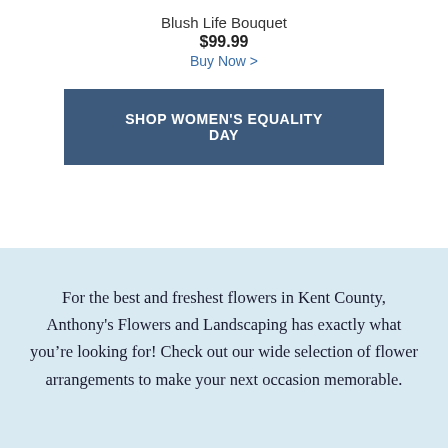Blush Life Bouquet
$99.99
Buy Now >
SHOP WOMEN'S EQUALITY DAY
For the best and freshest flowers in Kent County, Anthony's Flowers and Landscaping has exactly what you're looking for! Check out our wide selection of flower arrangements to make your next occasion memorable.